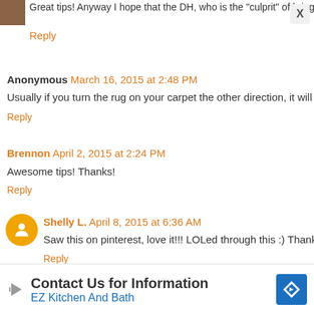[Figure (photo): Small thumbnail image of a person or avatar in top left corner]
Great tips! Anyway I hope that the DH, who is the "culprit" of bringing pe
Reply
Anonymous  March 16, 2015 at 2:48 PM
Usually if you turn the rug on your carpet the other direction, it will no lor
Reply
Brennon  April 2, 2015 at 2:24 PM
Awesome tips! Thanks!
Reply
Shelly L.  April 8, 2015 at 6:36 AM
Saw this on pinterest, love it!!! LOLed through this :) Thanks for the read
Reply
Susan  April 10, 2015 at 5:03 PM
[Figure (infographic): Advertisement: Contact Us for Information - EZ Kitchen And Bath with blue diamond logo]